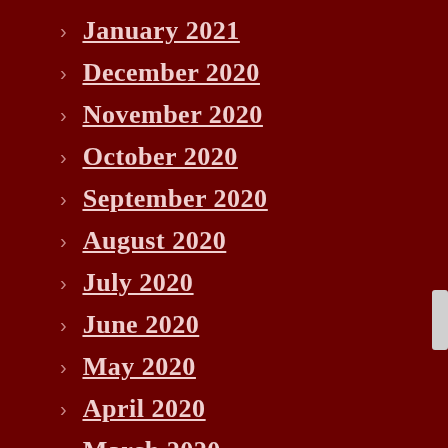January 2021
December 2020
November 2020
October 2020
September 2020
August 2020
July 2020
June 2020
May 2020
April 2020
March 2020
January 2020
August 2019